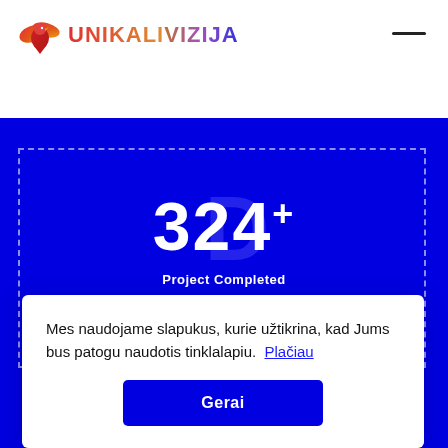[Figure (logo): Unikalivizija logo with colorful bird/wings icon and gradient text]
324+ Project Completed
Mes naudojame slapukus, kurie užtikrina, kad Jums bus patogu naudotis tinklalapiu. Plačiau
Gerai
Client Satisfaction